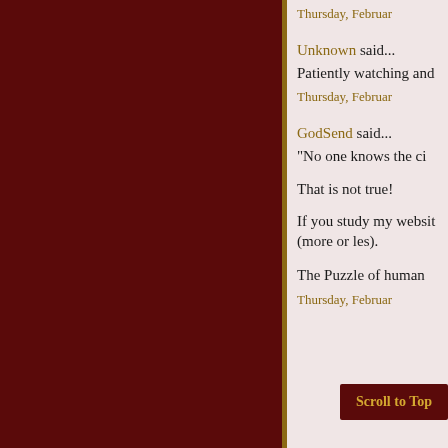Thursday, Februar
Unknown said...
Patiently watching and
Thursday, Februar
GodSend said...
"No one knows the ci
That is not true!
If you study my websit (more or les).
The Puzzle of human
Thursday, Februar
Scroll to Top